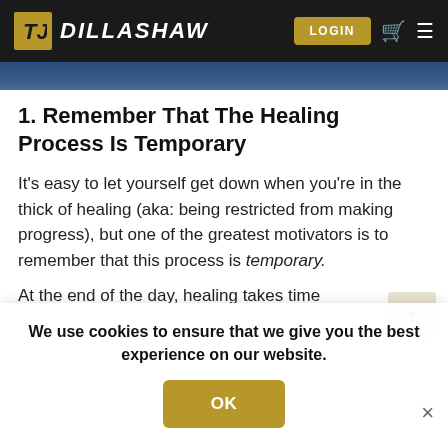DILLASHAW — LOGIN
[Figure (photo): Blue gradient image bar at top of content area]
1. Remember That The Healing Process Is Temporary
It's easy to let yourself get down when you're in the thick of healing (aka: being restricted from making progress), but one of the greatest motivators is to remember that this process is temporary.
At the end of the day, healing takes time
We use cookies to ensure that we give you the best experience on our website.